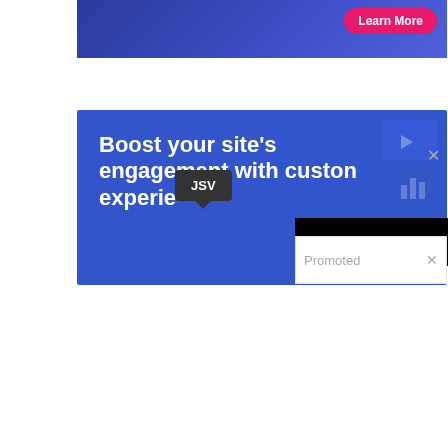[Figure (screenshot): Top portion of an advertisement banner showing a 'Learn More' pink button on a blue background with a character illustration]
[Figure (screenshot): Blue advertisement banner with white bold text reading 'Boost your site's engagement with custom experience' with background icons]
JSV
×
[Figure (screenshot): Black overlay bar covering part of the advertisement]
Promoted ×